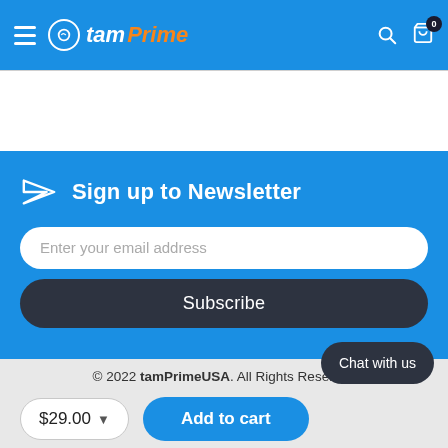tamPrime - navigation header with hamburger menu, logo, search and cart icons
[Figure (screenshot): White content gap area below header divider]
Sign up to Newsletter
Enter your email address
Subscribe
© 2022 tamPrimeUSA. All Rights Reserved
[Figure (logo): Payment logos: DISCOVER, MasterCard, PayPal, SL (partially visible)]
Chat with us
$29.00
Add to cart